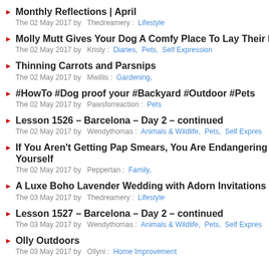Monthly Reflections | April
The 02 May 2017 by  Thedreamery :  Lifestyle
Molly Mutt Gives Your Dog A Comfy Place To Lay Their He
The 02 May 2017 by  Kristy :  Diaries,  Pets,  Self Expression
Thinning Carrots and Parsnips
The 02 May 2017 by  Mwillis :  Gardening,
#HowTo #Dog proof your #Backyard #Outdoor #Pets
The 02 May 2017 by  Pawsforreaction :  Pets
Lesson 1526 – Barcelona – Day 2 – continued
The 02 May 2017 by  Wendythomas :  Animals & Wildlife,  Pets,  Self Expres
If You Aren't Getting Pap Smears, You Are Endangering Yourself
The 02 May 2017 by  Peppertan :  Family,
A Luxe Boho Lavender Wedding with Adorn Invitations
The 03 May 2017 by  Thedreamery :  Lifestyle
Lesson 1527 – Barcelona – Day 2 – continued
The 03 May 2017 by  Wendythomas :  Animals & Wildlife,  Pets,  Self Expres
Olly Outdoors
The 03 May 2017 by  Ollyni :  Home Improvement